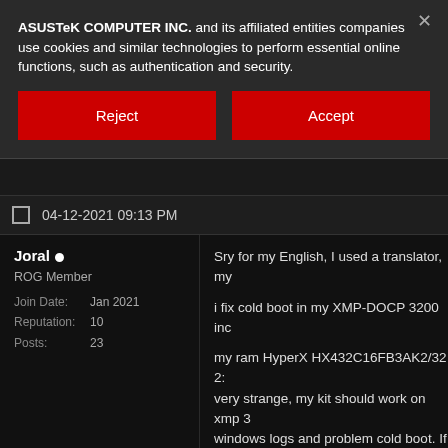ASUSTeK COMPUTER INC. and its affiliated entities companies use cookies and similar technologies to perform essential online functions, such as authentication and security.
Reject
Accept
04-12-2021 09:13 PM
Joral •
ROG Member
| Join Date: | Jan 2021 |
| Reputation: | 10 |
| Posts: | 23 |
Sry for my English, I used a translator, my

i fix cold boot in my XMP-DOCP 3200 inc

my ram HyperX HX432C16FB3AK2/32 2: very strange, my kit should work on xmp 3 windows logs and problem cold boot. If I n the voltage from 1.35 to 1.37 and increas then everything works fine for me, and the boot.

cpu:5900
mobo: Asus Rog Strix B550-E gaming
mobo bios: 2201
gpu:1060 gen3
ssd:samsung 980 pro 512